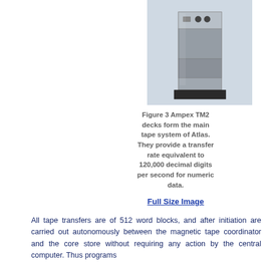[Figure (photo): Photograph of an Ampex TM2 magnetic tape deck unit, a large upright cabinet-style machine with control panels at the top]
Figure 3 Ampex TM2 decks form the main tape system of Atlas. They provide a transfer rate equivalent to 120,000 decimal digits per second for numeric data.
Full Size Image
All tape transfers are of 512 word blocks, and after initiation are carried out autonomously between the magnetic tape coordinator and the core store without requiring any action by the central computer. Thus programs